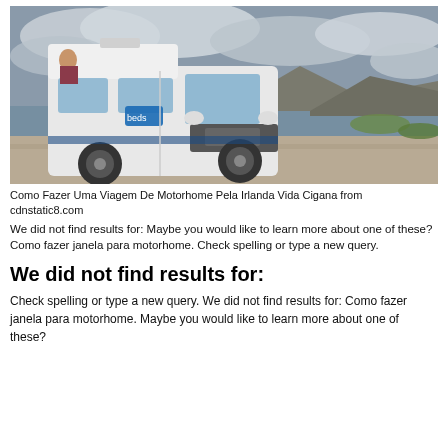[Figure (photo): A white motorhome/camper van parked on a gravel road near a lake or coastal area with rocky hills in the background. A person is visible leaning out of a window. Overcast sky. The vehicle has a raised roof section.]
Como Fazer Uma Viagem De Motorhome Pela Irlanda Vida Cigana from cdnstatic8.com
We did not find results for: Maybe you would like to learn more about one of these? Como fazer janela para motorhome. Check spelling or type a new query.
We did not find results for:
Check spelling or type a new query. We did not find results for: Como fazer janela para motorhome. Maybe you would like to learn more about one of these?